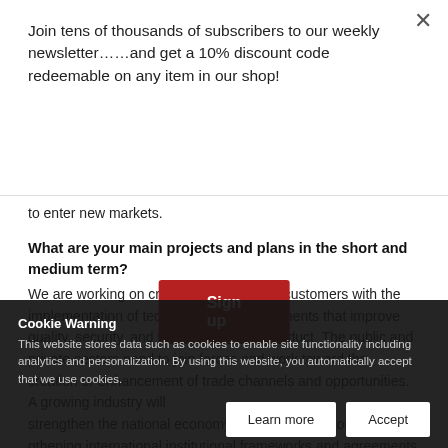Join tens of thousands of subscribers to our weekly newsletter……and get a 10% discount code redeemable on any item in our shop!
Sign up
to enter new markets.
What are your main projects and plans in the short and medium term?
We are working on creating value for our customers with the implementation of technological advancements that improve quality, security, and traceability of the product. The public and private sectors need to join forces and work toward the creation or enhancement of trade channels and opportunities. A growing industry will strengthen the national economy, and developing or strengthening international institutional frameworks and agreements increases competitiveness and the ability to enter new markets. In terms of foreign currency, the success of the agroindustrial sector represents
Cookie Warning
This website stores data such as cookies to enable site functionality including analytics and personalization. By using this website, you automatically accept that we use cookies.
Learn more
Accept